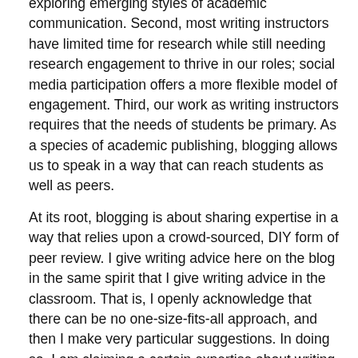exploring emerging styles of academic communication. Second, most writing instructors have limited time for research while still needing research engagement to thrive in our roles; social media participation offers a more flexible model of engagement. Third, our work as writing instructors requires that the needs of students be primary. As a species of academic publishing, blogging allows us to speak in a way that can reach students as well as peers.
At its root, blogging is about sharing expertise in a way that relies upon a crowd-sourced, DIY form of peer review. I give writing advice here on the blog in the same spirit that I give writing advice in the classroom. That is, I openly acknowledge that there can be no one-size-fits-all approach, and then I make very particular suggestions. In doing so, I am claiming a certain expertise about writing based on my previous work with writers. Readers and